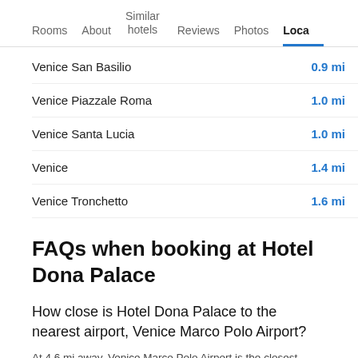Rooms | About | Similar hotels | Reviews | Photos | Loca…
Venice San Basilio — 0.9 mi
Venice Piazzale Roma — 1.0 mi
Venice Santa Lucia — 1.0 mi
Venice — 1.4 mi
Venice Tronchetto — 1.6 mi
FAQs when booking at Hotel Dona Palace
How close is Hotel Dona Palace to the nearest airport, Venice Marco Polo Airport?
At 4.6 mi away, Venice Marco Polo Airport is the closest airport to Hotel Dona Palace. There are several taxi destination from Hotel D...